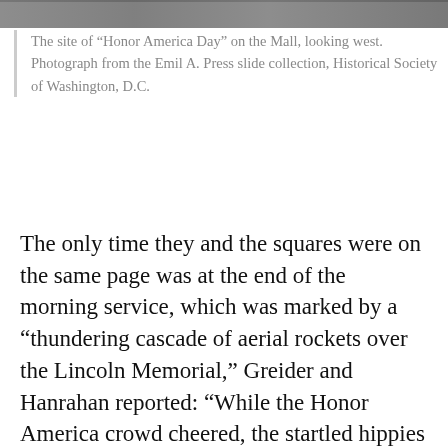[Figure (photo): A partial photo strip at the top of the page showing an outdoor scene on the Mall.]
The site of “Honor America Day” on the Mall, looking west. Photograph from the Emil A. Press slide collection, Historical Society of Washington, D.C.
The only time they and the squares were on the same page was at the end of the morning service, which was marked by a “thundering cascade of aerial rockets over the Lincoln Memorial,” Greider and Hanrahan reported: “While the Honor America crowd cheered, the startled hippies wading in the Reflecting Pool paused in awe, then cheered, not sure at first whether the noise was fireworks or enemy